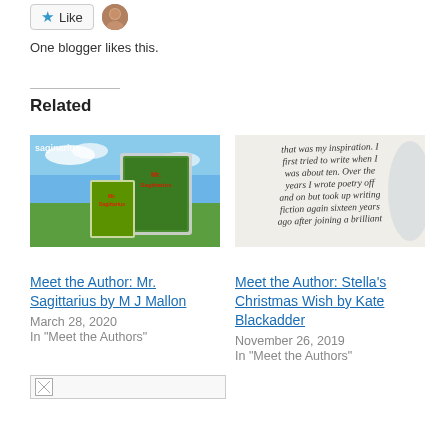[Figure (other): Like button with star icon and blogger avatar photo]
One blogger likes this.
Related
[Figure (photo): Book cover image for Mr. Sagittarius by M J Mallon showing green field, sky, and book cover displayed on tablet]
Meet the Author: Mr. Sagittarius by M J Mallon
March 28, 2020
In "Meet the Authors"
[Figure (photo): Handwritten cursive text image saying: that was my inspiration. I first tried to write when I was about ten. Over the years I wrote poetry off and on but took up writing fiction again sixteen years ago after joining a brilliant]
Meet the Author: Stella's Christmas Wish by Kate Blackadder
November 26, 2019
In "Meet the Authors"
[Figure (other): Broken image placeholder at bottom left]